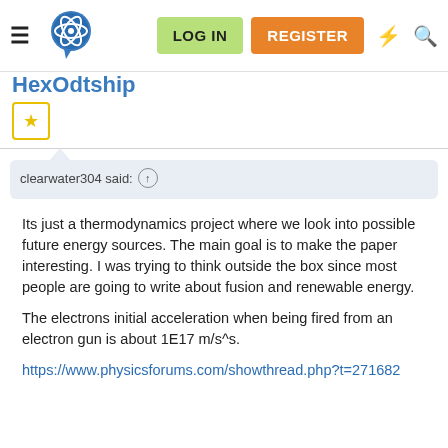LOG IN  REGISTER
HexOdlship
clearwater304 said:
Its just a thermodynamics project where we look into possible future energy sources. The main goal is to make the paper interesting. I was trying to think outside the box since most people are going to write about fusion and renewable energy.

The electrons initial acceleration when being fired from an electron gun is about 1E17 m/s^s.

https://www.physicsforums.com/showthread.php?t=271682